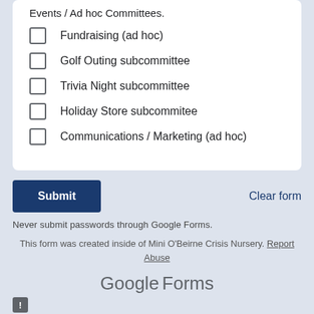Events / Ad hoc Committees.
Fundraising (ad hoc)
Golf Outing subcommittee
Trivia Night subcommittee
Holiday Store subcommitee
Communications / Marketing (ad hoc)
Submit
Clear form
Never submit passwords through Google Forms.
This form was created inside of Mini O'Beirne Crisis Nursery. Report Abuse
Google Forms